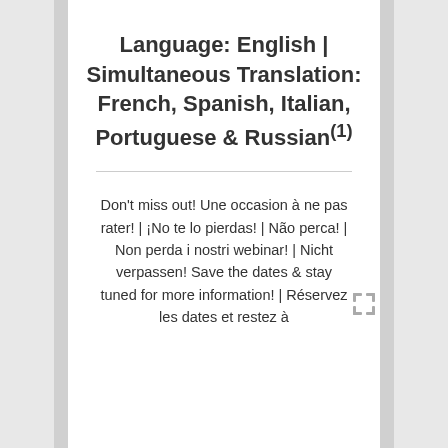Language: English | Simultaneous Translation: French, Spanish, Italian, Portuguese & Russian(1)
Don't miss out! Une occasion à ne pas rater! | ¡No te lo pierdas! | Não perca! | Non perda i nostri webinar! | Nicht verpassen! Save the dates & stay tuned for more information! | Réservez les dates et restez à